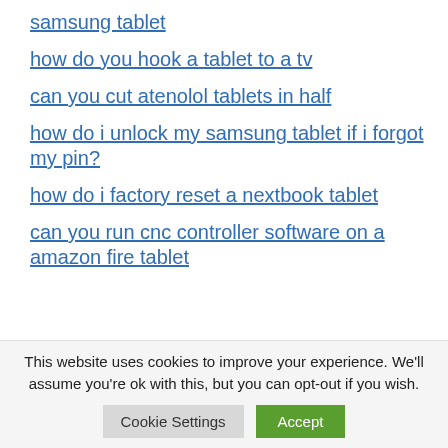samsung tablet
how do you hook a tablet to a tv
can you cut atenolol tablets in half
how do i unlock my samsung tablet if i forgot my pin?
how do i factory reset a nextbook tablet
can you run cnc controller software on a amazon fire tablet
This website uses cookies to improve your experience. We'll assume you're ok with this, but you can opt-out if you wish.
Cookie Settings  Accept